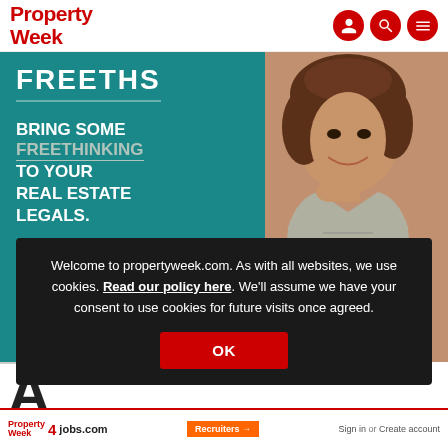Property Week — navigation header with logo and icons
[Figure (photo): Freeths law firm advertisement banner on teal background with woman in grey blazer. Text: FREETHS / BRING SOME FREETHINKING TO YOUR REAL ESTATE LEGALS.]
Welcome to propertyweek.com. As with all websites, we use cookies. Read our policy here. We'll assume we have your consent to use cookies for future visits once agreed.
Property Week 4 jobs.com | Recruiters → | Sign in or Create account